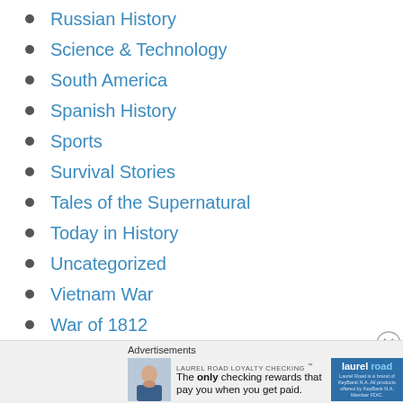Russian History
Science & Technology
South America
Spanish History
Sports
Survival Stories
Tales of the Supernatural
Today in History
Uncategorized
Vietnam War
War of 1812
War on Terror
Wars and Military Conflicts
Weather
Advertisements
LAUREL ROAD LOYALTY CHECKING ™
The only checking rewards that pay you when you get paid.